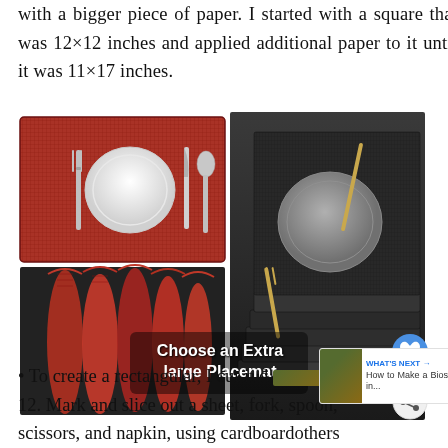with a bigger piece of paper. I started with a square that was 12×12 inches and applied additional paper to it until it was 11×17 inches.
[Figure (photo): Two sets of placemats: top-left shows a red woven placemat with a white plate, fork, knife, and spoon; bottom-left shows rolled red placemats; right side shows stacked dark/black woven placemats with a gray plate and gold cutlery. Overlay text reads 'Choose an Extra large Placemat'. Heart button with count 1 and share button visible on right edge.]
• To create a rectangular, I cut it d... 12. Mark and slice out a sheet, fork, spoon, scissors, and napkin, using cardboardothers